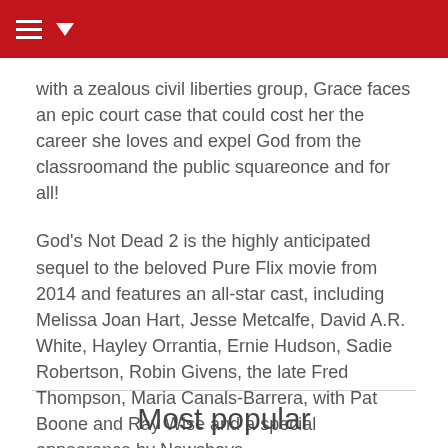with a zealous civil liberties group, Grace faces an epic court case that could cost her the career she loves and expel God from the classroomand the public squareonce and for all!
God's Not Dead 2 is the highly anticipated sequel to the beloved Pure Flix movie from 2014 and features an all-star cast, including Melissa Joan Hart, Jesse Metcalfe, David A.R. White, Hayley Orrantia, Ernie Hudson, Sadie Robertson, Robin Givens, the late Fred Thompson, Maria Canals-Barrera, with Pat Boone and Ray Wise and a special appearance by Newsboys.
Most popular